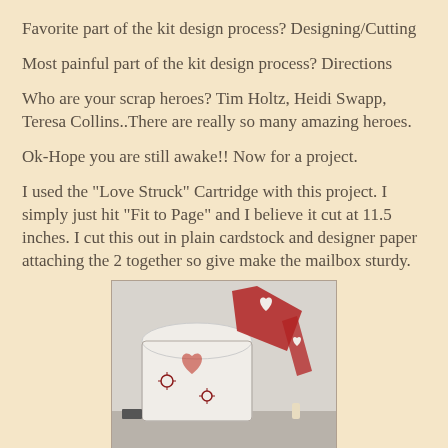Favorite part of the kit design process? Designing/Cutting
Most painful part of the kit design process? Directions
Who are your scrap heroes? Tim Holtz, Heidi Swapp, Teresa Collins..There are really so many amazing heroes.
Ok-Hope you are still awake!!  Now for a project.
I used the "Love Struck" Cartridge with this project.   I simply just hit "Fit to Page" and I believe it cut at 11.5 inches.  I cut this out in plain cardstock and designer paper attaching the 2 together so give make the mailbox sturdy.
[Figure (photo): A handmade mailbox craft project cut from white cardstock and red designer paper, featuring heart cutouts and floral designs, photographed against a light background.]